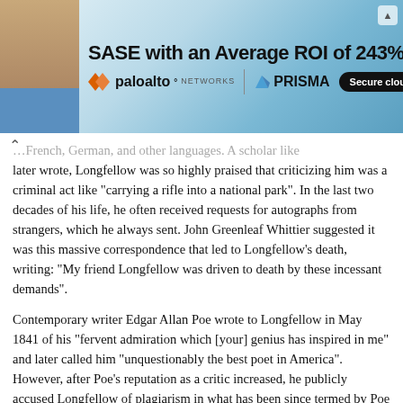[Figure (screenshot): Advertisement banner for Palo Alto Networks PRISMA: 'SASE with an Average ROI of 243%' with Palo Alto Networks and PRISMA logos and 'Secure cloud-enabled work' CTA button on a blue gradient background with a woman using a laptop.]
later wrote, Longfellow was so highly praised that criticizing him was a criminal act like "carrying a rifle into a national park". In the last two decades of his life, he often received requests for autographs from strangers, which he always sent. John Greenleaf Whittier suggested it was this massive correspondence that led to Longfellow's death, writing: "My friend Longfellow was driven to death by these incessant demands".
Contemporary writer Edgar Allan Poe wrote to Longfellow in May 1841 of his "fervent admiration which [your] genius has inspired in me" and later called him "unquestionably the best poet in America". However, after Poe's reputation as a critic increased, he publicly accused Longfellow of plagiarism in what has been since termed by Poe biographers as "The Longfellow War". His assessment was that Longfellow was "a determined imitator and a dextrous adapter of the ideas of other people", specifically Alfred, Lord Tennyson. His accusations may have been a publicity stunt to boost readership of the Broadway Journal, for which he was the editor at the time.Longfellow did not respond publicly, but, after Poe's death, he wrote: "The harshness of his criticisms I have never attributed to anything but the irritation of a sensitive nature chafed by some indefinite sense of wrong".
Margaret Fuller judged him "artificial and imitative" and lacking force. Poet Walt Whitman also considered Longfellow an imitator of